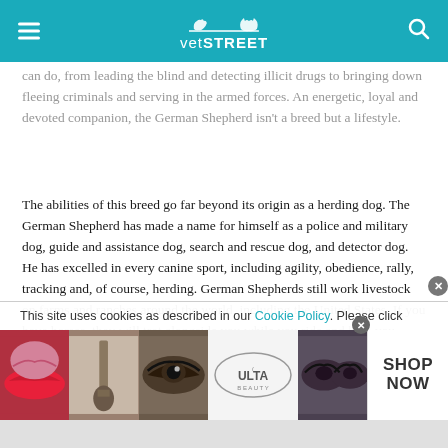vetSTREET
can do, from leading the blind and detecting illicit drugs to bringing down fleeing criminals and serving in the armed forces. An energetic, loyal and devoted companion, the German Shepherd isn't a breed but a lifestyle.
The abilities of this breed go far beyond its origin as a herding dog. The German Shepherd has made a name for himself as a police and military dog, guide and assistance dog, search and rescue dog, and detector dog. He has excelled in every canine sport, including agility, obedience, rally, tracking and, of course, herding. German Shepherds still work livestock on farms and ranches around the world, including the United States. If you have horses, they will trot alongside you while you ride and help you
put the horses back in the barn when you're done.
If you want a devoted, dynamic partner, do it with a German Shepherd. Be prepared to
This site uses cookies as described in our Cookie Policy. Please click
[Figure (screenshot): ULTA Beauty advertisement banner with makeup imagery and SHOP NOW call to action]